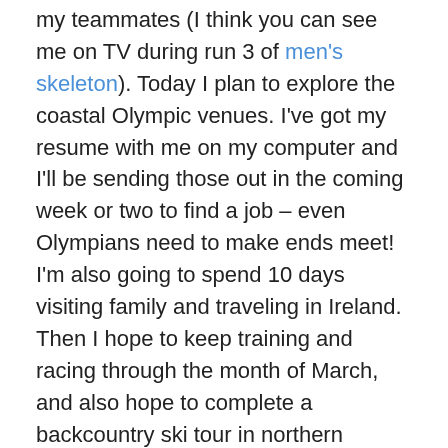my teammates (I think you can see me on TV during run 3 of men's skeleton). Today I plan to explore the coastal Olympic venues. I've got my resume with me on my computer and I'll be sending those out in the coming week or two to find a job – even Olympians need to make ends meet! I'm also going to spend 10 days visiting family and traveling in Ireland. Then I hope to keep training and racing through the month of March, and also hope to complete a backcountry ski tour in northern Quebec before the winter is over.
I'll try to post a few more times about the Olympics on this blog and then my posts will become less frequent – I'll try to post some photos and stories from outdoor adventures as they come along.
Thank you all so much for reading, your messages of